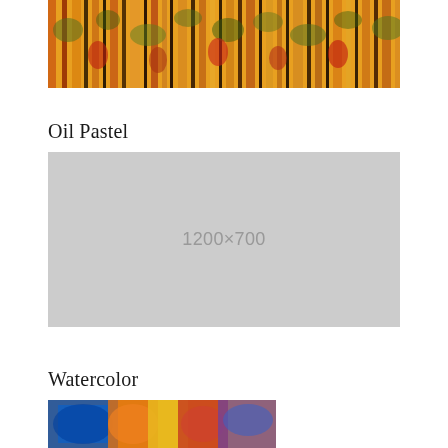[Figure (illustration): Colorful abstract painting showing vertical tree-like forms with orange, yellow, green and red hues with dark outlines, resembling an autumn forest scene.]
Oil Pastel
[Figure (other): Placeholder image showing dimensions 1200×700 on a gray background.]
Watercolor
[Figure (illustration): Partial colorful painting with blue, orange, yellow and red hues, appears to be a watercolor artwork.]